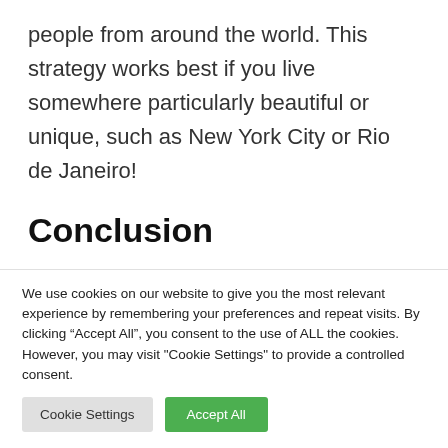people from around the world. This strategy works best if you live somewhere particularly beautiful or unique, such as New York City or Rio de Janeiro!
Conclusion
Social media has changed how we communicate and grow as businesses, brands
We use cookies on our website to give you the most relevant experience by remembering your preferences and repeat visits. By clicking “Accept All”, you consent to the use of ALL the cookies. However, you may visit "Cookie Settings" to provide a controlled consent.